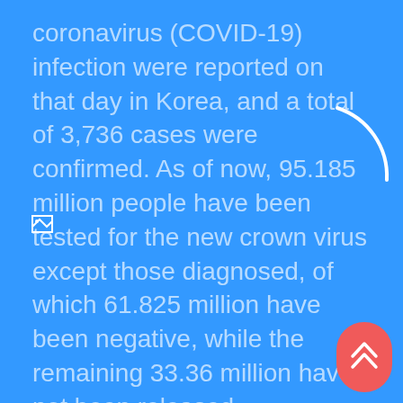coronavirus (COVID-19) infection were reported on that day in Korea, and a total of 3,736 cases were confirmed. As of now, 95.185 million people have been tested for the new crown virus except those diagnosed, of which 61.825 million have been negative, while the remaining 33.36 million have not been released.
[Figure (other): Loading spinner arc (partial white circle arc indicating loading state) and a broken image placeholder icon on a blue background, with a red scroll-to-top button in the bottom right corner]